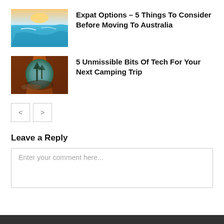[Figure (photo): Aerial view of ocean waves and coastline with blue-green water]
Expat Options – 5 Things To Consider Before Moving To Australia
[Figure (photo): View from inside an orange tent looking out at trees]
5 Unmissible Bits Of Tech For Your Next Camping Trip
< >
Leave a Reply
Enter your comment here...